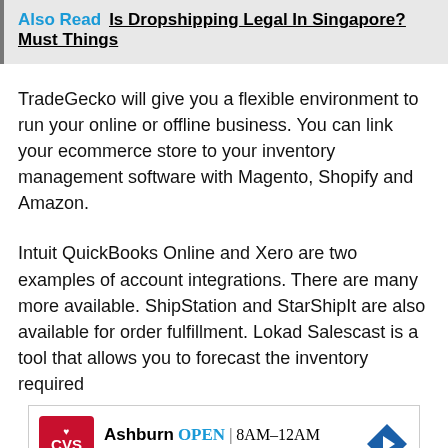Also Read  Is Dropshipping Legal In Singapore? Must Things
TradeGecko will give you a flexible environment to run your online or offline business. You can link your ecommerce store to your inventory management software with Magento, Shopify and Amazon.
Intuit QuickBooks Online and Xero are two examples of account integrations. There are many more available. ShipStation and StarShipIt are also available for order fulfillment. Lokad Salescast is a tool that allows you to forecast the inventory required
[Figure (other): Advertisement for CVS Pharmacy in Ashburn, showing store logo, OPEN status, hours 8AM-12AM, and address 43930 Farmwell Hunt Plaza, Ash...]